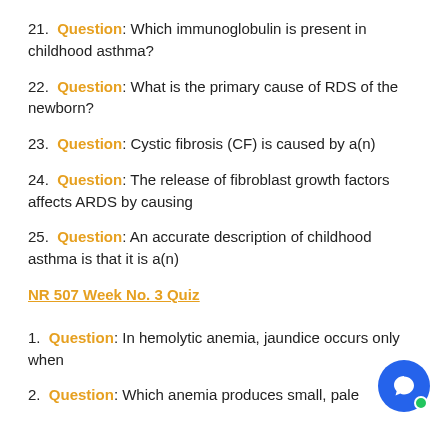21.  Question: Which immunoglobulin is present in childhood asthma?
22.  Question: What is the primary cause of RDS of the newborn?
23.  Question: Cystic fibrosis (CF) is caused by a(n)
24.  Question: The release of fibroblast growth factors affects ARDS by causing
25.  Question: An accurate description of childhood asthma is that it is a(n)
NR 507 Week No. 3 Quiz
1.  Question: In hemolytic anemia, jaundice occurs only when
2.  Question: Which anemia produces small, pale